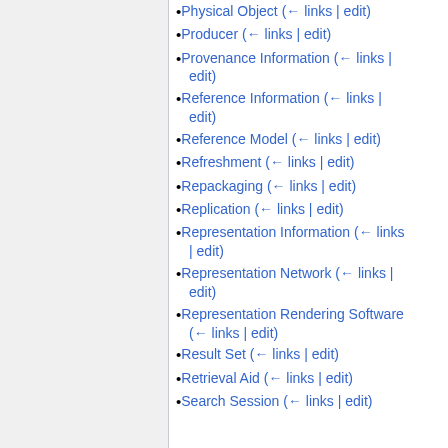Physical Object  (← links | edit)
Producer  (← links | edit)
Provenance Information  (← links | edit)
Reference Information  (← links | edit)
Reference Model  (← links | edit)
Refreshment  (← links | edit)
Repackaging  (← links | edit)
Replication  (← links | edit)
Representation Information  (← links | edit)
Representation Network  (← links | edit)
Representation Rendering Software  (← links | edit)
Result Set  (← links | edit)
Retrieval Aid  (← links | edit)
Search Session  (← links | edit)